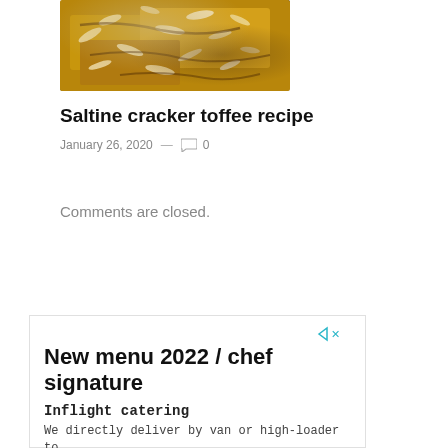[Figure (photo): Photo of saltine cracker toffee pieces with almonds on top, shot from above on a dark surface]
Saltine cracker toffee recipe
January 26, 2020  —  0
Comments are closed.
[Figure (other): Advertisement: New menu 2022 / chef signature. Inflight catering. We directly deliver by van or high-loader to your aircraft. bon-traiteur.fr (partial URL visible)]